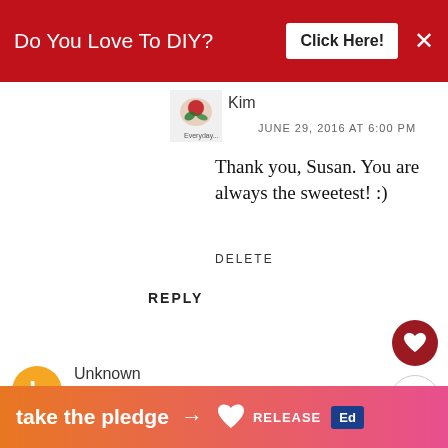[Figure (screenshot): Red banner advertisement at top: 'Do You Love To DIY? Click Here!' with close X button]
[Figure (photo): Small avatar image with red flower logo for user Kim]
Kim
JUNE 29, 2016 AT 6:00 PM
Thank you, Susan. You are always the sweetest! :)
DELETE
REPLY
[Figure (illustration): Orange circular Blogger avatar icon with B logo for user Unknown]
Unknown
JUNE 23, 2016 AT 9:22 PM
Hi Kim,
I love cable grommets, I di... them a long time ago when we got
[Figure (photo): What's Next overlay showing a small photo and 'Decorating Cheats~...' label]
[Figure (infographic): Bottom banner ad: 'take the pledge' with arrow, Release logo and Ed logo]